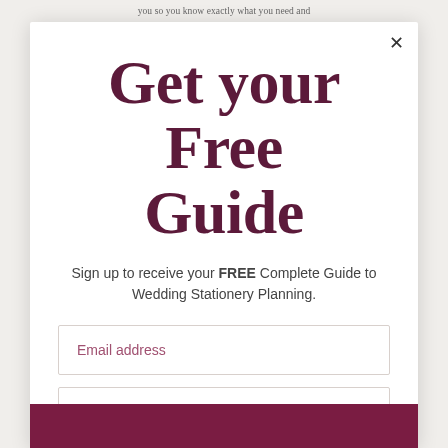you so you know exactly what you need and
Get your Free Guide
Sign up to receive your FREE Complete Guide to Wedding Stationery Planning.
[Figure (other): Email address input field with placeholder text 'Email address']
[Figure (other): First name input field with placeholder text 'First name']
[Figure (other): Last name input field with placeholder text 'Last name']